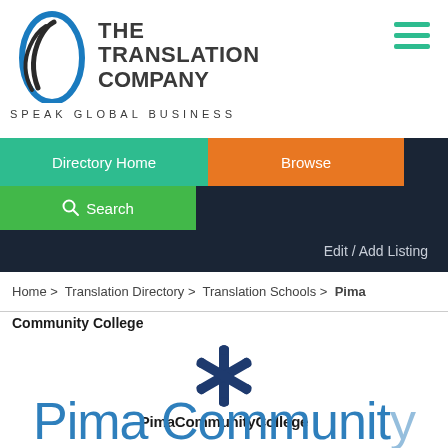[Figure (logo): The Translation Company logo with blue oval and swoosh icon, text 'THE TRANSLATION COMPANY' and tagline 'SPEAK GLOBAL BUSINESS']
[Figure (logo): Hamburger menu icon (three teal horizontal lines)]
Directory Home | Browse | Search | Edit / Add Listing
Home > Translation Directory > Translation Schools > Pima Community College
Community College
[Figure (logo): Pima Community College logo: dark blue snowflake/asterisk emblem above text 'PimaCommunityCollege']
Pima Community